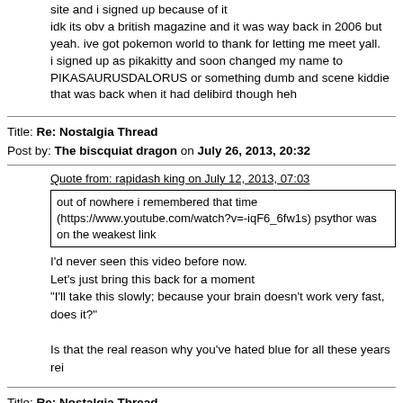site and i signed up because of it
idk its obv a british magazine and it was way back in 2006 but yeah. ive got pokemon world to thank for letting me meet yall.
i signed up as pikakitty and soon changed my name to PIKASAURUSDALORUS or something dumb and scene kiddie that was back when it had delibird though heh
Title: Re: Nostalgia Thread
Post by: The biscquiat dragon on July 26, 2013, 20:32
Quote from: rapidash king on July 12, 2013, 07:03
out of nowhere i remembered that time (https://www.youtube.com/watch?v=-iqF6_6fw1s) psythor was on the weakest link
I'd never seen this video before now.
Let's just bring this back for a moment
"I'll take this slowly; because your brain doesn't work very fast, does it?"

Is that the real reason why you've hated blue for all these years rei
Title: Re: Nostalgia Thread
Post by: arcanines on July 26, 2013, 20:35
i honestly don't remember how i found this site. i think it was because i was looking up something for the g/s/c games?? but yeah i think i registered around the time r/s/e had just came out but i didn't actually become active until i was 13 or 14...